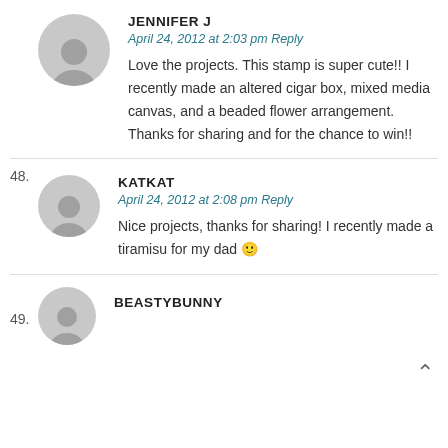48. JENNIFER J — April 24, 2012 at 2:03 pm Reply — Love the projects. This stamp is super cute!! I recently made an altered cigar box, mixed media canvas, and a beaded flower arrangement. Thanks for sharing and for the chance to win!!
49. KATKAT — April 24, 2012 at 2:08 pm Reply — Nice projects, thanks for sharing! I recently made a tiramisu for my dad 🙂
BEASTYBUNNY